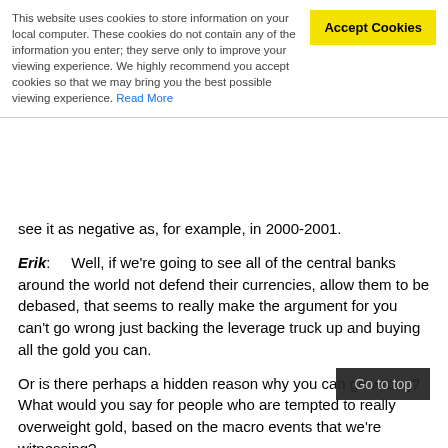This website uses cookies to store information on your local computer. These cookies do not contain any of the information you enter; they serve only to improve your viewing experience. We highly recommend you accept cookies so that we may bring you the best possible viewing experience. Read More
see it as negative as, for example, in 2000-2001.
Erik:    Well, if we're going to see all of the central banks around the world not defend their currencies, allow them to be debased, that seems to really make the argument for you can't go wrong just backing the leverage truck up and buying all the gold you can.
Or is there perhaps a hidden reason why you can go wrong? What would you say for people who are tempted to really overweight gold, based on the macro events that we're witnessing?
Daniel: Well, I think that one thing is to have a certain amount of gold in your portfolio. It's a good de-correlated asset. Central bank buying, emerging market demand, all of those things. Supply-demand picture. The fundamentals
If you want to go aggressively ove                           ively overweight